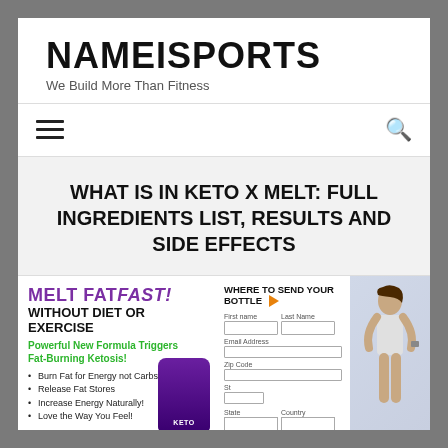NAMEISPORTS
We Build More Than Fitness
WHAT IS IN KETO X MELT: FULL INGREDIENTS LIST, RESULTS AND SIDE EFFECTS
[Figure (screenshot): Keto X Melt advertisement showing 'MELT FAT FAST! WITHOUT DIET OR EXERCISE', form to send bottle, and woman in athletic wear]